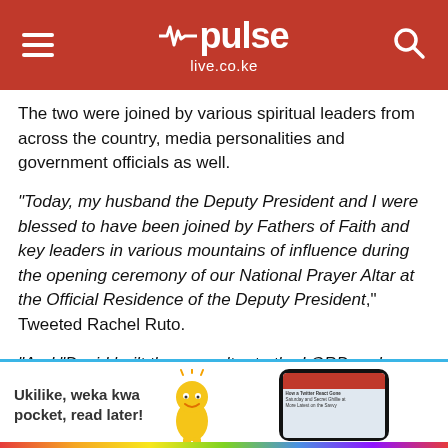pulse live.co.ke
The two were joined by various spiritual leaders from across the country, media personalities and government officials as well.
“Today, my husband the Deputy President and I were blessed to have been joined by Fathers of Faith and key leaders in various mountains of influence during the opening ceremony of our National Prayer Altar at the Official Residence of the Deputy President,” Tweeted Rachel Ruto.
“And "David built there an altar to the LORD and offered burnt offerings and peace offerings. Thus the LORD was moved by prayer for the land, and the plague was✕eld back fr…
[Figure (other): Advertisement banner: 'Ukilike, weka kwa pocket, read later!' with cartoon mascot and phone screenshot]